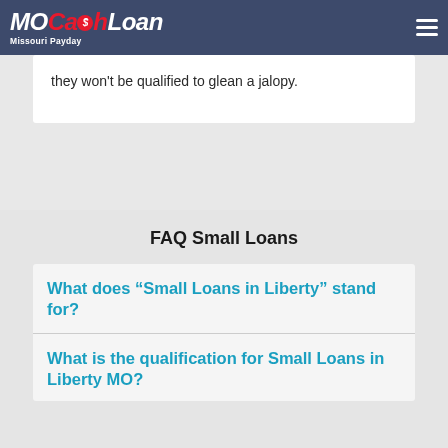[Figure (logo): MOCashLoan Missouri Payday Loan logo with red and white text on dark blue navigation bar]
they won't be qualified to glean a jalopy.
FAQ Small Loans
What does “Small Loans in Liberty” stand for?
What is the qualification for Small Loans in Liberty MO?